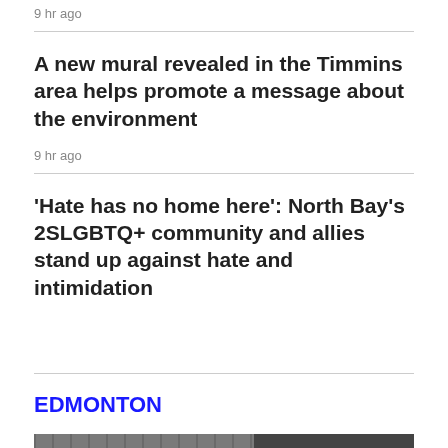9 hr ago
A new mural revealed in the Timmins area helps promote a message about the environment
9 hr ago
'Hate has no home here': North Bay's 2SLGBTQ+ community and allies stand up against hate and intimidation
EDMONTON
[Figure (photo): Exterior photo of a bistro storefront showing a green sign reading 'BISTRO PRAHA European Food & Drink' and part of another colorful sign on the right side. Metal grid ceiling visible.]